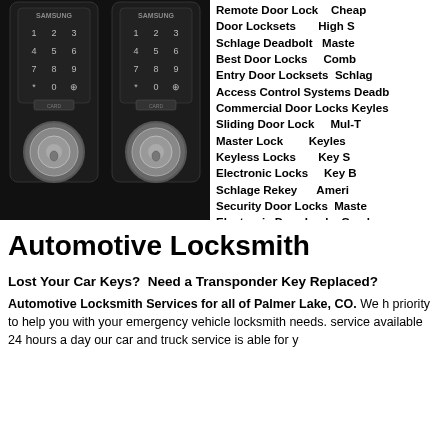[Figure (photo): Two Samsung electronic door locks with numeric keypads and knobs, shown side by side on dark background]
Remote Door Lock
Door Locksets
Schlage Deadbolt
Best Door Locks
Entry Door Locksets
Access Control Systems
Commercial Door Locks
Sliding Door Lock
Master Lock
Keyless Locks
Electronic Locks
Schlage Rekey
Security Door Locks
Electronic Door Locks
Cheap
High S
Maste
Comb
Schlag
Deadb
Keyles
Mul-T
Keyles
Key S
Key B
Ameri
Maste
Comb
Automotive Locksmith
Lost Your Car Keys?  Need a Transponder Key Replaced?
Automotive Locksmith Services for all of Palmer Lake, CO. We h priority to help you with your emergency vehicle locksmith needs. service available 24 hours a day our car and truck service is able for y